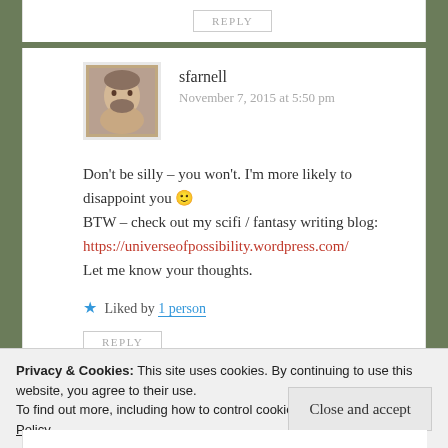REPLY
sfarnell
November 7, 2015 at 5:50 pm
Don't be silly – you won't. I'm more likely to disappoint you 🙂
BTW – check out my scifi / fantasy writing blog:
https://universeofpossibility.wordpress.com/
Let me know your thoughts.
★ Liked by 1 person
REPLY
Privacy & Cookies: This site uses cookies. By continuing to use this website, you agree to their use.
To find out more, including how to control cookies, see here: Cookie Policy
Close and accept